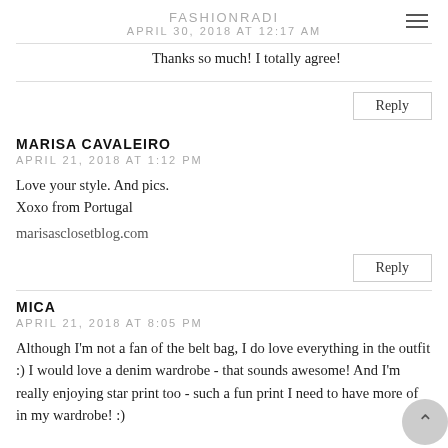FASHIONRADI
APRIL 30, 2018 AT 12:17 AM
Thanks so much! I totally agree!
Reply
MARISA CAVALEIRO
APRIL 21, 2018 AT 1:12 PM
Love your style. And pics.
Xoxo from Portugal

marisasclosetblog.com
Reply
MICA
APRIL 21, 2018 AT 8:05 PM
Although I'm not a fan of the belt bag, I do love everything in the outfit :) I would love a denim wardrobe - that sounds awesome! And I'm really enjoying star print too - such a fun print I need to have more of in my wardrobe! :)